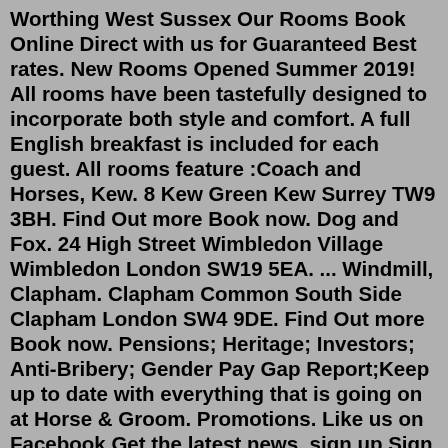Worthing West Sussex Our Rooms Book Online Direct with us for Guaranteed Best rates. New Rooms Opened Summer 2019! All rooms have been tastefully designed to incorporate both style and comfort. A full English breakfast is included for each guest. All rooms feature :Coach and Horses, Kew. 8 Kew Green Kew Surrey TW9 3BH. Find Out more Book now. Dog and Fox. 24 High Street Wimbledon Village Wimbledon London SW19 5EA. ... Windmill, Clapham. Clapham Common South Side Clapham London SW4 9DE. Find Out more Book now. Pensions; Heritage; Investors; Anti-Bribery; Gender Pay Gap Report;Keep up to date with everything that is going on at Horse & Groom. Promotions. Like us on Facebook Get the latest news. sign up Sign Up. Book A Table. Created with Sketch. Greene King is the country's leading pub retailer and brewer, running over 3,100 pubs, restaurants and hotels across England, Wales and Scotland. ...Coach & Horses Prebend Street ... Lord Ashburnham who